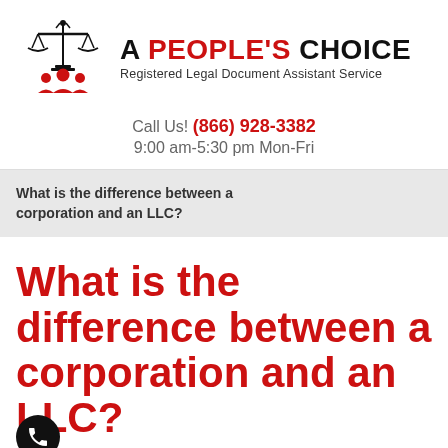[Figure (logo): A People's Choice logo with scales of justice and people silhouette icons]
Call Us! (866) 928-3382
9:00 am-5:30 pm Mon-Fri
What is the difference between a corporation and an LLC?
What is the difference between a corporation and an LLC?